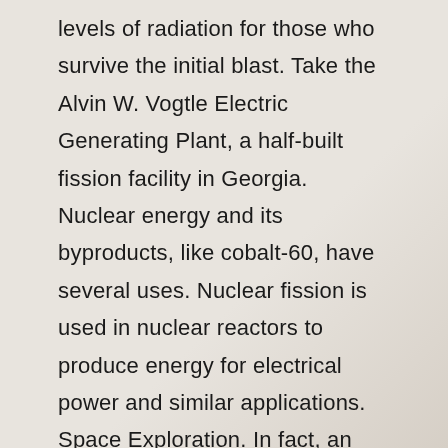levels of radiation for those who survive the initial blast. Take the Alvin W. Vogtle Electric Generating Plant, a half-built fission facility in Georgia. Nuclear energy and its byproducts, like cobalt-60, have several uses. Nuclear fission is used in nuclear reactors to produce energy for electrical power and similar applications. Space Exploration. In fact, an international treaty was created in 2017 by several major nations to prevent nuclear weapons from spreading. Nuclear energy has been used as a weapon when the United States dropped atomic bombs in the Japanese cities of Hiroshima on August 6, 1945, and Nagasaki on August 9, 1945, as World War II was coming in an end. The magnitude